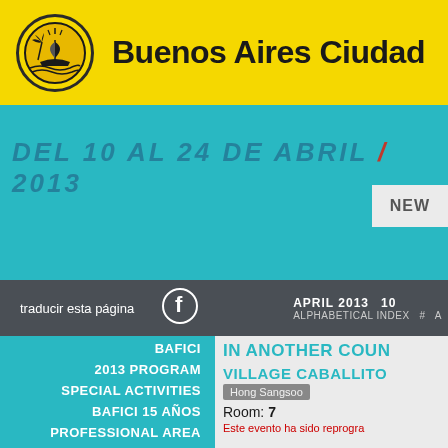[Figure (logo): Buenos Aires Ciudad official seal/logo - oval shaped emblem with ship and palm tree]
Buenos Aires Ciudad
DEL 10 AL 24 DE ABRIL / 2013
NEW
traducir esta página
APRIL 2013   10
ALPHABETICAL INDEX  #  A
BAFICI
2013 PROGRAM
SPECIAL ACTIVITIES
BAFICI 15 AÑOS
PROFESSIONAL AREA
OUTDOOR SCREENINGS
IN ANOTHER COUN
VILLAGE CABALLITO
Hong Sangsoo
Room: 7
Este evento ha sido reprogra